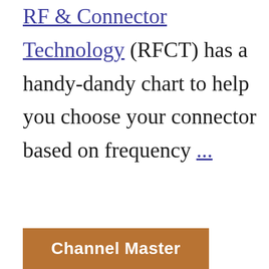RF & Connector Technology (RFCT) has a handy-dandy chart to help you choose your connector based on frequency ...
[Figure (other): Channel Master button/logo — brown/tan rectangular button with white bold text reading 'Channel Master']